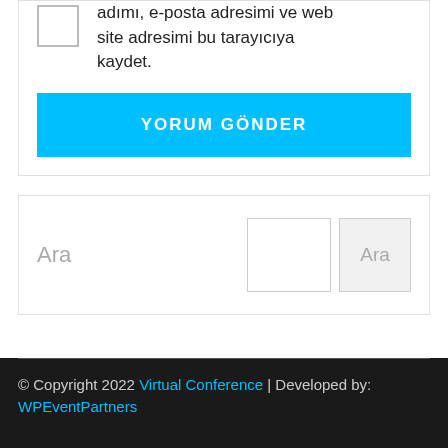adımı, e-posta adresimi ve web site adresimi bu tarayıcıya kaydet.
YORUM GÖNDER
Ara
Ara
© Copyright 2022 Virtual Conference | Developed by: WPEventPartners